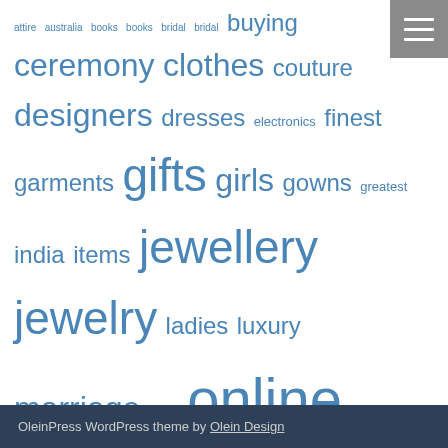attire australia books books bridal bridal buying ceremony clothes couture designers dresses electronics finest garments gifts girls gowns greatest india items jewellery jewelry ladies luxury marriage minute online present presents procuring purchase purchasing retailer reward rings robes shopping shops sites store trend watches websites wedding women
OleinPress WordPress theme by Olein Design